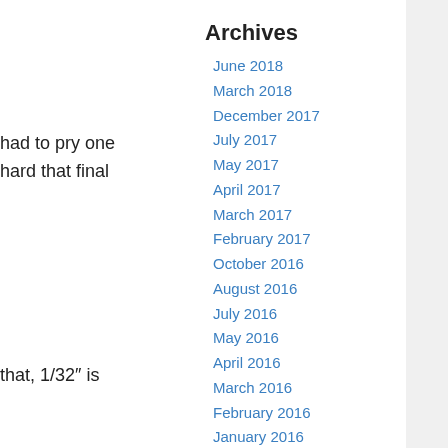had to pry one hard that final
that, 1/32" is
end of the rs as it expands
the
Archives
June 2018
March 2018
December 2017
July 2017
May 2017
April 2017
March 2017
February 2017
October 2016
August 2016
July 2016
May 2016
April 2016
March 2016
February 2016
January 2016
December 2015
November 2015
October 2015
September 2015
August 2015
July 2015
June 2015